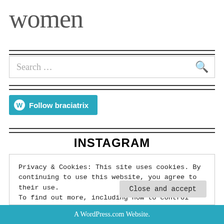women
Search …
Follow braciatrix
INSTAGRAM
Privacy & Cookies: This site uses cookies. By continuing to use this website, you agree to their use.
To find out more, including how to control cookies, see here: Cookie Policy
Close and accept
A WordPress.com Website.